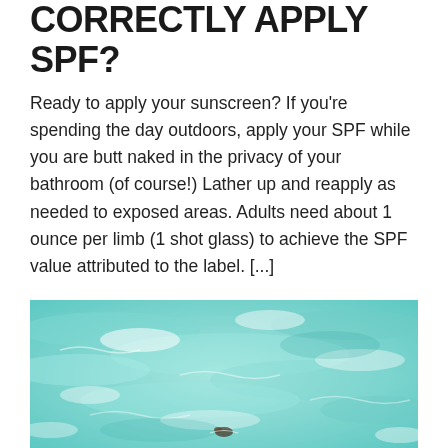CORRECTLY APPLY SPF?
Ready to apply your sunscreen? If you're spending the day outdoors, apply your SPF while you are butt naked in the privacy of your bathroom (of course!) Lather up and reapply as needed to exposed areas. Adults need about 1 ounce per limb (1 shot glass) to achieve the SPF value attributed to the label. [...]
[Figure (photo): Aerial view of turquoise ocean water with waves and a small swimmer or surfer visible near the bottom]